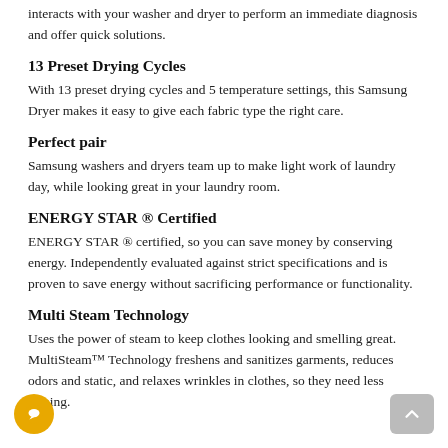interacts with your washer and dryer to perform an immediate diagnosis and offer quick solutions.
13 Preset Drying Cycles
With 13 preset drying cycles and 5 temperature settings, this Samsung Dryer makes it easy to give each fabric type the right care.
Perfect pair
Samsung washers and dryers team up to make light work of laundry day, while looking great in your laundry room.
ENERGY STAR ® Certified
ENERGY STAR ® certified, so you can save money by conserving energy. Independently evaluated against strict specifications and is proven to save energy without sacrificing performance or functionality.
Multi Steam Technology
Uses the power of steam to keep clothes looking and smelling great. MultiSteam™ Technology freshens and sanitizes garments, reduces odors and static, and relaxes wrinkles in clothes, so they need less ironing.